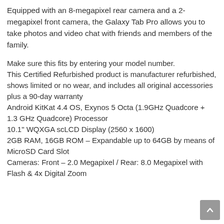Equipped with an 8-megapixel rear camera and a 2-megapixel front camera, the Galaxy Tab Pro allows you to take photos and video chat with friends and members of the family.
Make sure this fits by entering your model number.
This Certified Refurbished product is manufacturer refurbished, shows limited or no wear, and includes all original accessories plus a 90-day warranty
Android KitKat 4.4 OS, Exynos 5 Octa (1.9GHz Quadcore + 1.3 GHz Quadcore) Processor
10.1" WQXGA scLCD Display (2560 x 1600)
2GB RAM, 16GB ROM – Expandable up to 64GB by means of MicroSD Card Slot
Cameras: Front – 2.0 Megapixel / Rear: 8.0 Megapixel with Flash & 4x Digital Zoom